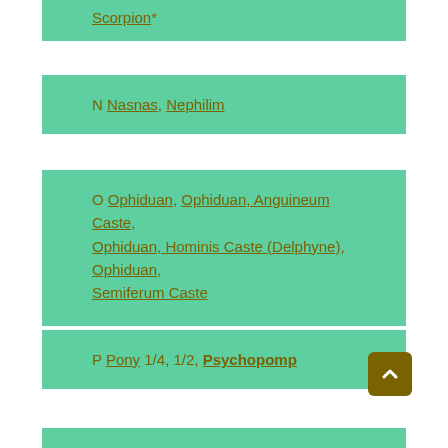Scorpion*
N Nasnas, Nephilim
O Ophiduan, Ophiduan, Anguineum Caste, Ophiduan, Hominis Caste (Delphyne), Ophiduan, Semiferum Caste
P Pony 1/4, 1/2, Psychopomp
R Roc, Rukh